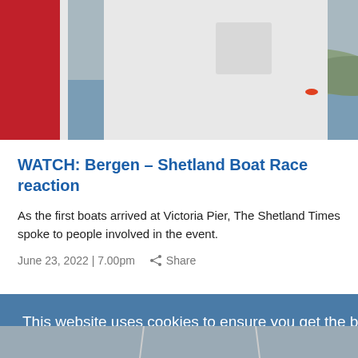[Figure (photo): Photo showing a person wearing a white t-shirt with a sailing race logo, and red boat hull visible on the left, water and hills in background]
WATCH: Bergen – Shetland Boat Race reaction
As the first boats arrived at Victoria Pier, The Shetland Times spoke to people involved in the event.
June 23, 2022 | 7.00pm   Share
This website uses cookies to ensure you get the best experience on our website.
Learn more
Got it!
[Figure (photo): Partial view of boats/masts at bottom of page]